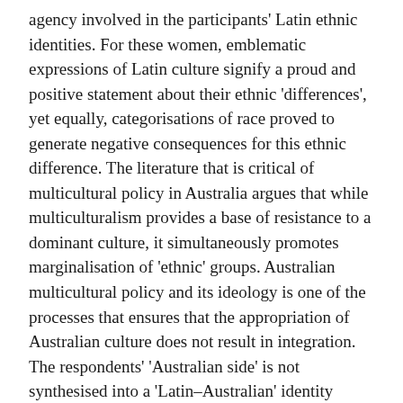agency involved in the participants' Latin ethnic identities. For these women, emblematic expressions of Latin culture signify a proud and positive statement about their ethnic 'differences', yet equally, categorisations of race proved to generate negative consequences for this ethnic difference. The literature that is critical of multicultural policy in Australia argues that while multiculturalism provides a base of resistance to a dominant culture, it simultaneously promotes marginalisation of 'ethnic' groups. Australian multicultural policy and its ideology is one of the processes that ensures that the appropriation of Australian culture does not result in integration. The respondents' 'Australian side' is not synthesised into a 'Latin–Australian' identity partly due to the limitations in the ideology of multiculturalism, which does not address racial categorisations of Australian-ness.
The idea of Australia as a 'multicultural' society manifested itself in all interviews. All the participants use